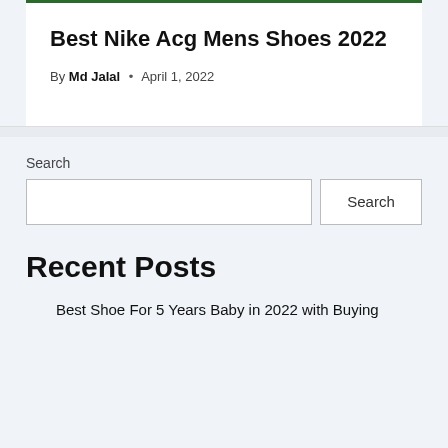Best Nike Acg Mens Shoes 2022
By Md Jalal • April 1, 2022
Search
Recent Posts
Best Shoe For 5 Years Baby in 2022 with Buying